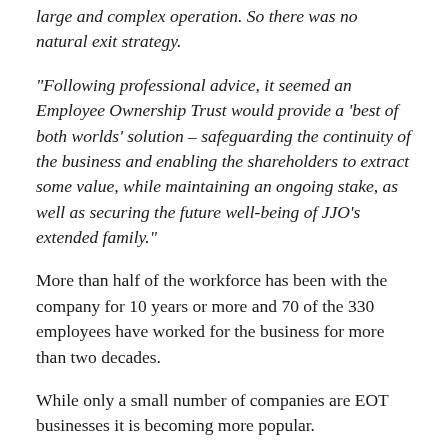large and complex operation. So there was no natural exit strategy.
“Following professional advice, it seemed an Employee Ownership Trust would provide a ‘best of both worlds’ solution – safeguarding the continuity of the business and enabling the shareholders to extract some value, while maintaining an ongoing stake, as well as securing the future well-being of JJO’s extended family.”
More than half of the workforce has been with the company for 10 years or more and 70 of the 330 employees have worked for the business for more than two decades.
While only a small number of companies are EOT businesses it is becoming more popular.
The company was advised by Lindsay Hemmingway